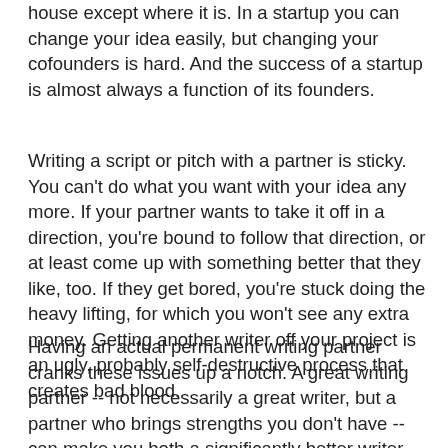house except where it is. In a startup you can change your idea easily, but changing your cofounders is hard. And the success of a startup is almost always a function of its founders.
Writing a script or pitch with a partner is sticky. You can't do what you want with your idea any more. If your partner wants to take it off in a direction, you're bound to follow that direction, or at least come up with something better that they like, too. If they get bored, you're stuck doing the heavy lifting, for which you won't see any extra money. Getting another writer off your project is an ugly, probably self-destructive process that creates bad blood.
Having an actual permanent writing partner cranks these issues up a notch. A great writing partner -- not necessarily a great writer, but a partner who brings strengths you don't have -- can make you both a significantly better writer. And a 25% better writer is likely to see 200% of the jobs. But the wrong writing partner can drag you down and make your life miserable. And divorcing yourself from your partner means all your material is now useless. You will need all new